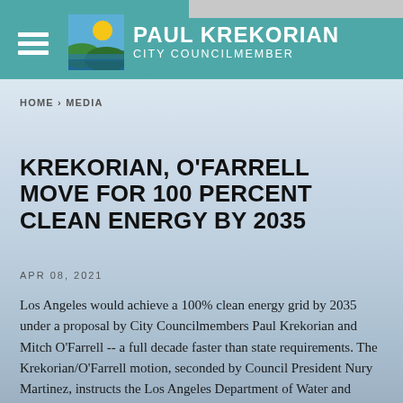PAUL KREKORIAN CITY COUNCILMEMBER
HOME › MEDIA
KREKORIAN, O'FARRELL MOVE FOR 100 PERCENT CLEAN ENERGY BY 2035
APR 08, 2021
Los Angeles would achieve a 100% clean energy grid by 2035 under a proposal by City Councilmembers Paul Krekorian and Mitch O'Farrell -- a full decade faster than state requirements. The Krekorian/O'Farrell motion, seconded by Council President Nury Martinez, instructs the Los Angeles Department of Water and Power to